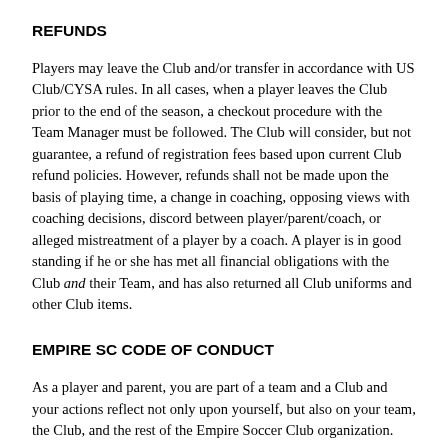REFUNDS
Players may leave the Club and/or transfer in accordance with US Club/CYSA rules. In all cases, when a player leaves the Club prior to the end of the season, a checkout procedure with the Team Manager must be followed. The Club will consider, but not guarantee, a refund of registration fees based upon current Club refund policies. However, refunds shall not be made upon the basis of playing time, a change in coaching, opposing views with coaching decisions, discord between player/parent/coach, or alleged mistreatment of a player by a coach. A player is in good standing if he or she has met all financial obligations with the Club and their Team, and has also returned all Club uniforms and other Club items.
EMPIRE SC CODE OF CONDUCT
As a player and parent, you are part of a team and a Club and your actions reflect not only upon yourself, but also on your team, the Club, and the rest of the Empire Soccer Club organization.
Parents are expected to: